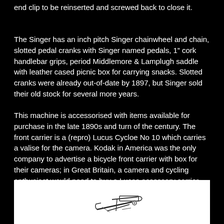end clip to be reinserted and screwed back to close it.
The Singer has an inch pitch Singer chainwheel and chain, slotted pedal cranks with Singer named pedals, 1" cork handlebar grips, period Middlemore & Lamplugh saddle with leather cased picnic box for carrying snacks. Slotted cranks were already out-of-date by 1897, but Singer sold their old stock for several more years.
This machine is accessorised with items available for purchase in the late 1890s and turn of the century. The front carrier is a (repro) Lucus Cycloe No 10 which carries a valise for the camera. Kodak in America was the only company to advertise a bicycle front carrier with box for their cameras; in Great Britain, a camera and cycling enthusiast would need to buy a Lucas accessory carrier plus valise to achieve the same effect.
[Figure (photo): Black and white illustration/photo of a bicycle front carrier or camera valise mechanism, shown against a white background at the bottom of the page.]